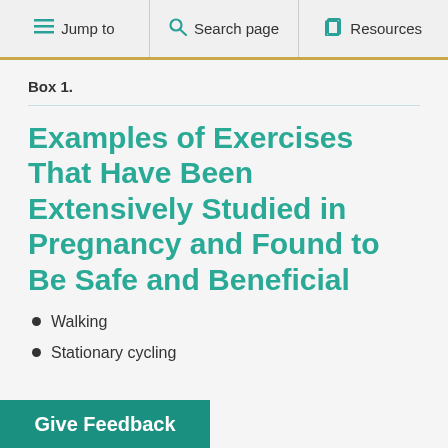Jump to | Search page | Resources
Box 1.
Examples of Exercises That Have Been Extensively Studied in Pregnancy and Found to Be Safe and Beneficial
Walking
Stationary cycling
...ses
Give Feedback